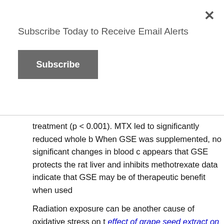Subscribe Today to Receive Email Alerts
Subscribe
treatment (p < 0.001). MTX led to significantly reduced whole b When GSE was supplemented, no significant changes in blood c appears that GSE protects the rat liver and inhibits methotrexate data indicate that GSE may be of therapeutic benefit when used
Radiation exposure can be another cause of oxidative stress on t effect of grape seed extract on radiation-induced oxidative stres tolerance of the liver is considerably low when an effective radi delivered in patients in whom either their liver or whole body ar this study was to evaluate the possible protective effect of grape induced by RTx in the rat liver. — We used four groups, each co rats. RTx-grape seed extract group: rats were given grape seed e days, following 8 Gy whole body irradiation, and grape seed ex RTx group: the same protocol was applied in this group: howev